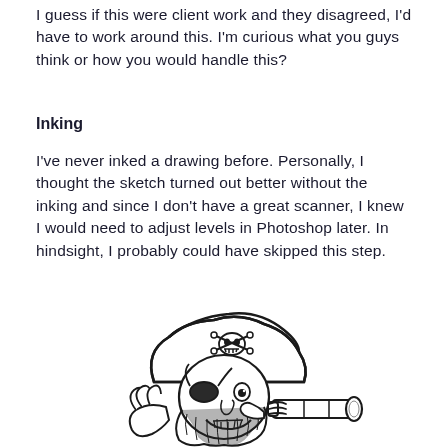I guess if this were client work and they disagreed, I'd have to work around this. I'm curious what you guys think or how you would handle this?
Inking
I've never inked a drawing before. Personally, I thought the sketch turned out better without the inking and since I don't have a great scanner, I knew I would need to adjust levels in Photoshop later. In hindsight, I probably could have skipped this step.
[Figure (illustration): Black and white inked cartoon illustration of a pirate character wearing a tricorn hat with skull and crossbones, an eye patch, and holding a telescope or spyglass. The pirate has a beard and is drawn in a simple cartoon style.]